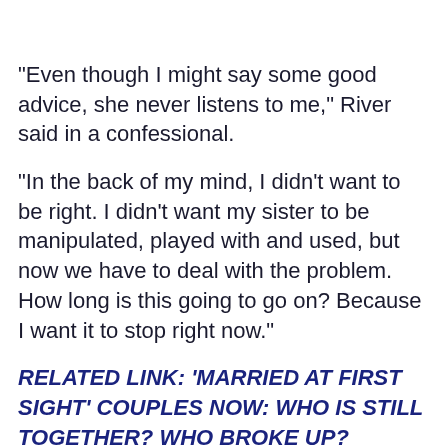"Even though I might say some good advice, she never listens to me," River said in a confessional.
"In the back of my mind, I didn't want to be right. I didn't want my sister to be manipulated, played with and used, but now we have to deal with the problem. How long is this going to go on? Because I want it to stop right now."
RELATED LINK: 'MARRIED AT FIRST SIGHT' COUPLES NOW: WHO IS STILL TOGETHER? WHO BROKE UP? WHERE ARE THEY NOW? (PHOTOS)
Chantel then opened up about how her friend Obed